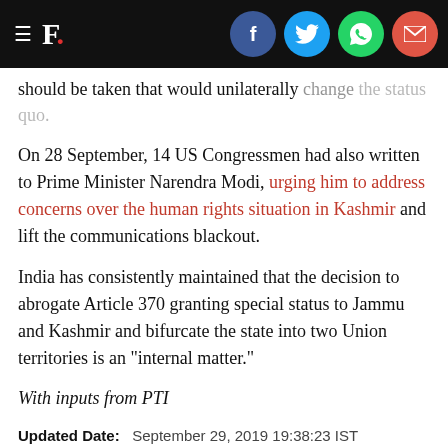F. [Firstpost logo with social share icons: Facebook, Twitter, WhatsApp, Email]
should be taken that would unilaterally change the status quo.
On 28 September, 14 US Congressmen had also written to Prime Minister Narendra Modi, urging him to address concerns over the human rights situation in Kashmir and lift the communications blackout.
India has consistently maintained that the decision to abrogate Article 370 granting special status to Jammu and Kashmir and bifurcate the state into two Union territories is an "internal matter."
With inputs from PTI
Updated Date:   September 29, 2019 19:38:23 IST
TAGS: Amit Shah | Amit Shah On Kashmir | China At Unga